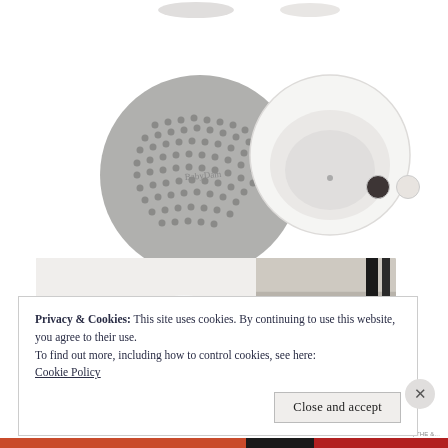[Figure (photo): Product photo showing two circular shower head components: a grey dotted/perforated disc and a white bowl-shaped piece, partially overlapping, viewed from above. Two smaller circular product thumbnails visible at top. Two color swatches (dark grey and light grey/white) at right.]
[Figure (photo): Partial product lifestyle photo showing a bathtub or bathroom setting with black fixtures and a textured stone/concrete surface.]
Privacy & Cookies: This site uses cookies. By continuing to use this website, you agree to their use.
To find out more, including how to control cookies, see here:
Cookie Policy
Close and accept